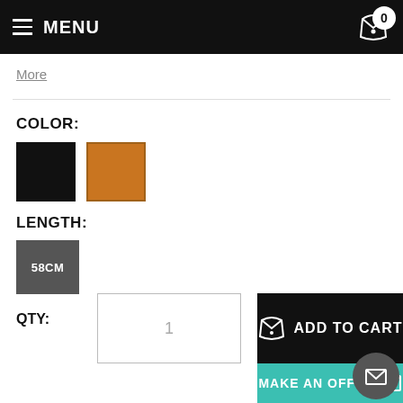MENU | Cart: 0
More
COLOR:
[Figure (other): Two color swatches: black and orange]
LENGTH:
58CM
QTY: 1
ADD TO CART
MAKE AN OFFER